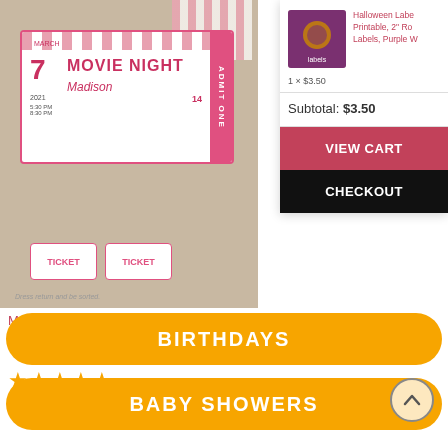[Figure (photo): Product photo of Movie Night Invitation Printable RED ticket stub design with pink and white striped movie tickets]
Movie Night Invitation Printable RED, Ticket Stub
★★★★★
$7.00
[Figure (photo): Thumbnail of Halloween Labels Printable 2 Round Labels Purple W product]
Halloween Labe Printable, 2" Ro Labels, Purple W
1 × $3.50
Subtotal: $3.50
VIEW CART
CHECKOUT
BIRTHDAYS
BABY SHOWERS